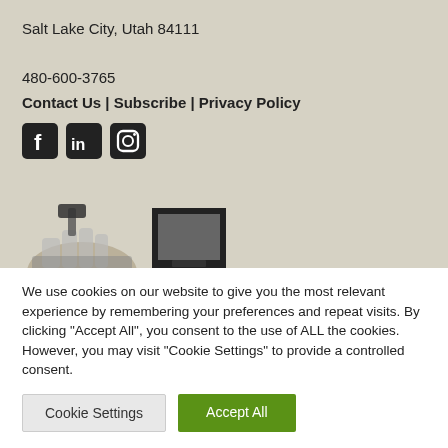Salt Lake City, Utah 84111
480-600-3765
Contact Us | Subscribe | Privacy Policy
[Figure (illustration): Social media icons: Facebook, LinkedIn, Instagram]
[Figure (illustration): Partially visible illustration showing a hand holding a tool and a screen/frame shape at bottom of the beige section]
We use cookies on our website to give you the most relevant experience by remembering your preferences and repeat visits. By clicking "Accept All", you consent to the use of ALL the cookies. However, you may visit "Cookie Settings" to provide a controlled consent.